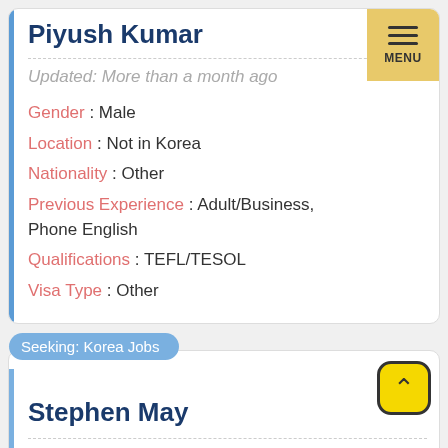Piyush Kumar
Updated: More than a month ago
Gender : Male
Location : Not in Korea
Nationality : Other
Previous Experience : Adult/Business, Phone English
Qualifications : TEFL/TESOL
Visa Type : Other
Seeking: Korea Jobs
Stephen May